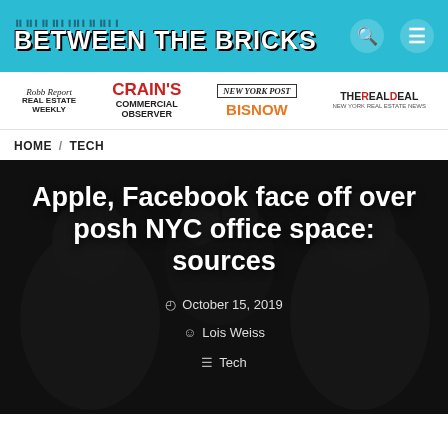BETWEEN THE BRICKS
[Figure (logo): Media logos bar: Robb Report Real Estate Weekly, Crain's Commercial Observer, New York Post / Bisnow, The Real Deal]
HOME / TECH
[Figure (photo): Dark hero image with silhouettes of people and an animal (possibly a dog) in a dimly lit scene]
Apple, Facebook face off over posh NYC office space: sources
October 15, 2019
Lois Weiss
Tech